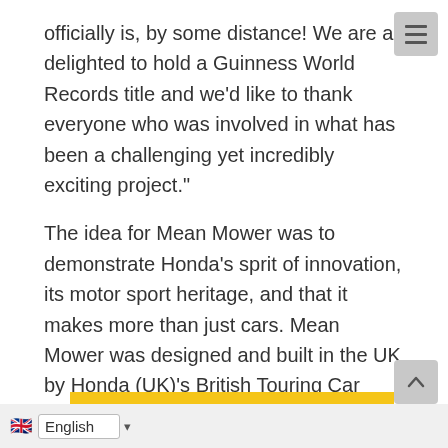officially is, by some distance! We are all delighted to hold a Guinness World Records title and we'd like to thank everyone who was involved in what has been a challenging yet incredibly exciting project."
The idea for Mean Mower was to demonstrate Honda's sprit of innovation, its motor sport heritage, and that it makes more than just cars. Mean Mower was designed and built in the UK by Honda (UK)'s British Touring Car Championship (BTCC) partner, Team Dynamics.  The team re-engineered a Honda HF2620 Lawn Tractor from the ground-up, adding an all-new fabricated chassis, custom-made from 4130 chromoly (high carbon steel) to provide a strong, safe but very light platform. A 1000cc engine from a Honda VTR Firestorm was used, along with a h...